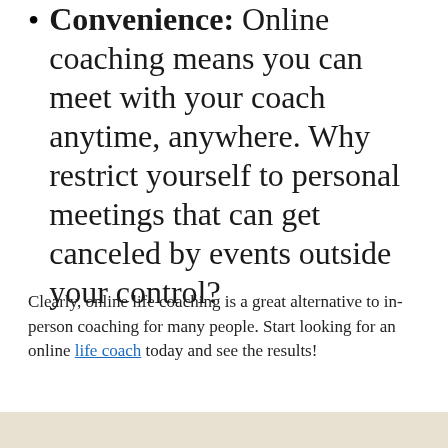Convenience: Online coaching means you can meet with your coach anytime, anywhere. Why restrict yourself to personal meetings that can get canceled by events outside your control?
Clearly, online life coaching is a great alternative to in-person coaching for many people. Start looking for an online life coach today and see the results!